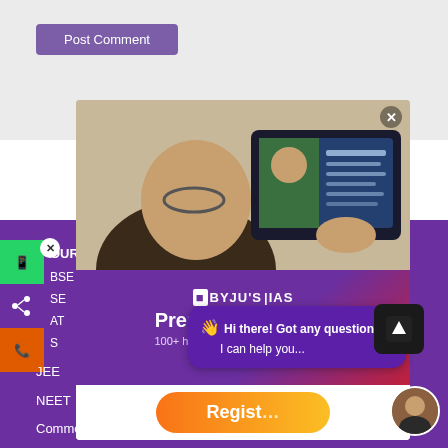[Figure (screenshot): Post Comment button on a light gray background at the top of the page]
[Figure (screenshot): BYJU'S IAS promotional popup with photo of person using tablet, logo, 'Preparing for IAS?' heading, free prep material offer, and Register button]
[Figure (screenshot): Chat help bubble: 'Hi there! Got any questions? I can help you...' on purple background with wave emoji]
[Figure (screenshot): Upload/scroll-to-top button (dark box with up arrow)]
OURS
BSE
SE
AT
S
JEE
NEET
Commerce
UPSC Syllabus
UPSC 2023
UPSC 2022